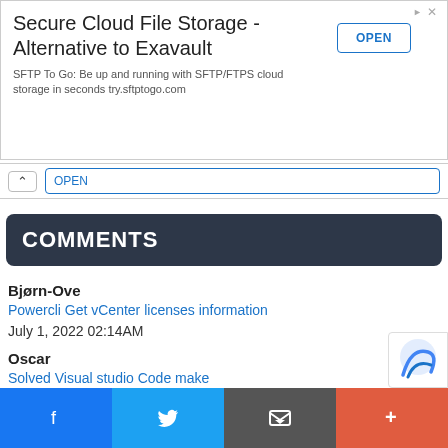[Figure (screenshot): Advertisement banner: Secure Cloud File Storage - Alternative to Exavault. SFTP To Go: Be up and running with SFTP/FTPS cloud storage in seconds try.sftptogo.com. OPEN button on right.]
Bjørn-Ove
Powercli Get vCenter licenses information
July 1, 2022 02:14AM
Oscar
Solved Visual studio Code make sure you configure your user.name and user.email in git
June 30, 2022 01:14AM
Ryan Dunbar